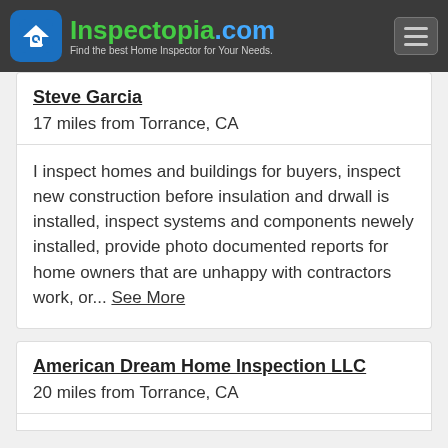Inspectopia.com - Find the best Home Inspector for Your Needs.
Steve Garcia
17 miles from Torrance, CA
I inspect homes and buildings for buyers, inspect new construction before insulation and drwall is installed, inspect systems and components newely installed, provide photo documented reports for home owners that are unhappy with contractors work, or... See More
American Dream Home Inspection LLC
20 miles from Torrance, CA